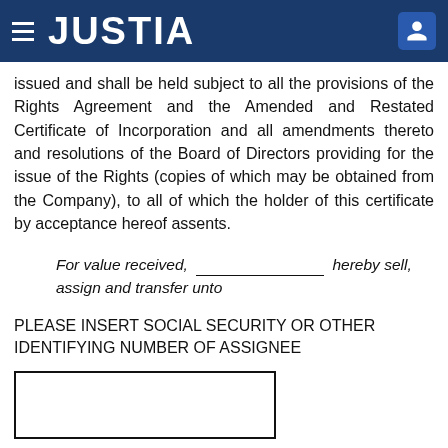JUSTIA
issued and shall be held subject to all the provisions of the Rights Agreement and the Amended and Restated Certificate of Incorporation and all amendments thereto and resolutions of the Board of Directors providing for the issue of the Rights (copies of which may be obtained from the Company), to all of which the holder of this certificate by acceptance hereof assents.
For value received, ________________ hereby sell, assign and transfer unto
PLEASE INSERT SOCIAL SECURITY OR OTHER IDENTIFYING NUMBER OF ASSIGNEE
[Figure (other): Empty input box for social security or identifying number of assignee]